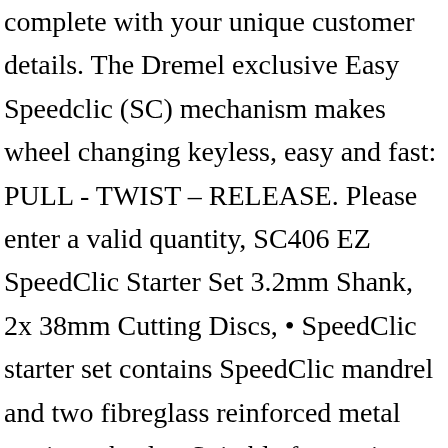complete with your unique customer details. The Dremel exclusive Easy Speedclic (SC) mechanism makes wheel changing keyless, easy and fast: PULL - TWIST – RELEASE. Please enter a valid quantity, SC406 EZ SpeedClic Starter Set 3.2mm Shank, 2x 38mm Cutting Discs, • SpeedClic starter set contains SpeedClic mandrel and two fibreglass reinforced metal cutting wheels • Suitable for cutting materials including common bricks, concrete blocks, slate and roofing tiles, 1+ Please select the products(s) you wish to buy. Select from